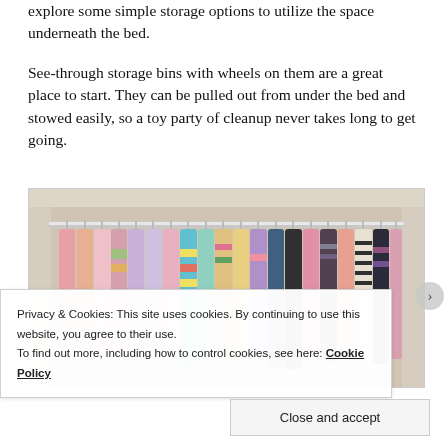explore some simple storage options to utilize the space underneath the bed.
See-through storage bins with wheels on them are a great place to start. They can be pulled out from under the bed and stowed easily, so a toy party of cleanup never takes long to get going.
[Figure (photo): A children's closet with a metal hanging rod filled with colorful clothes on pink hangers. The closet interior is light beige/cream colored.]
Privacy & Cookies: This site uses cookies. By continuing to use this website, you agree to their use.
To find out more, including how to control cookies, see here: Cookie Policy
Close and accept